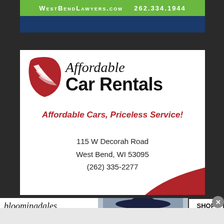[Figure (infographic): WestBendLawyers.com top ad banner with green bar showing website and phone number 262.334.1944 on dark blue background]
[Figure (infographic): Affordable Car Rentals advertisement with red and white logo, tagline 'Affordable Cars, Priceless Service!', address 115 W Decorah Road, West Bend, WI 53095, phone (262) 335-2277]
[Figure (infographic): Bloomingdale's banner advertisement showing 'View Today's Top Deals!' with model in hat and 'SHOP NOW >' button]